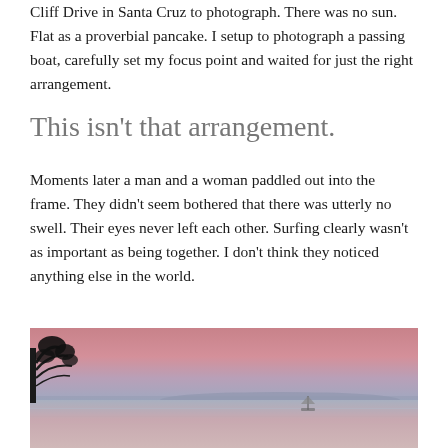Cliff Drive in Santa Cruz to photograph. There was no sun. Flat as a proverbial pancake. I setup to photograph a passing boat, carefully set my focus point and waited for just the right arrangement.
This isn't that arrangement.
Moments later a man and a woman paddled out into the frame. They didn't seem bothered that there was utterly no swell. Their eyes never left each other. Surfing clearly wasn't as important as being together. I don't think they noticed anything else in the world.
[Figure (photo): A serene coastal sunset photograph showing a calm ocean with a pink and lavender sky, silhouetted trees on the left, distant hills, and a small sailboat on the water.]